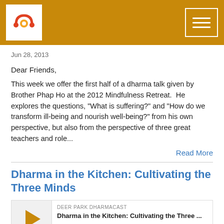Deer Park Dharmacast — header bar with logo and menu
Jun 28, 2013
Dear Friends,
This week we offer the first half of a dharma talk given by Brother Phap Ho at the 2012 Mindfulness Retreat.  He explores the questions, "What is suffering?" and "How do we transform ill-being and nourish well-being?" from his own perspective, but also from the perspective of three great teachers and role...
Read More
Dharma in the Kitchen: Cultivating the Three Minds
DEER PARK DHARMACAST
Dharma in the Kitchen: Cultivating the Three ...